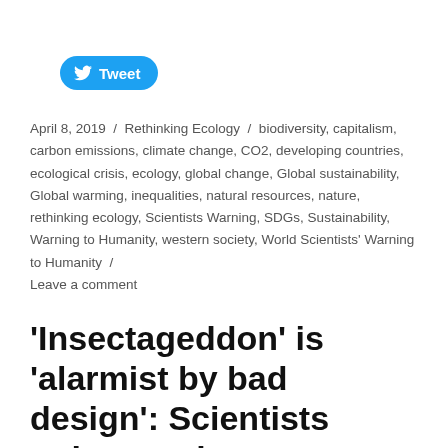[Figure (logo): Twitter Tweet button with bird logo]
April 8, 2019 / Rethinking Ecology / biodiversity, capitalism, carbon emissions, climate change, CO2, developing countries, ecological crisis, ecology, global change, Global sustainability, Global warming, inequalities, natural resources, nature, rethinking ecology, Scientists Warning, SDGs, Sustainability, Warning to Humanity, western society, World Scientists' Warning to Humanity / Leave a comment
'Insectageddon' is 'alarmist by bad design': Scientists point out the